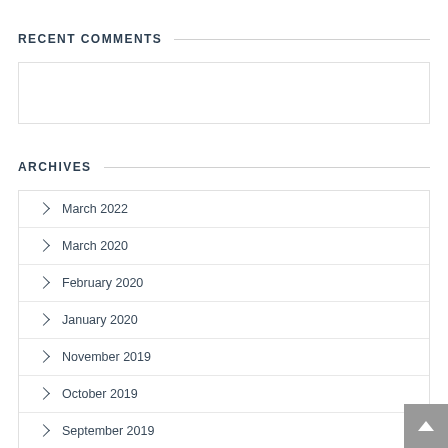RECENT COMMENTS
ARCHIVES
March 2022
March 2020
February 2020
January 2020
November 2019
October 2019
September 2019